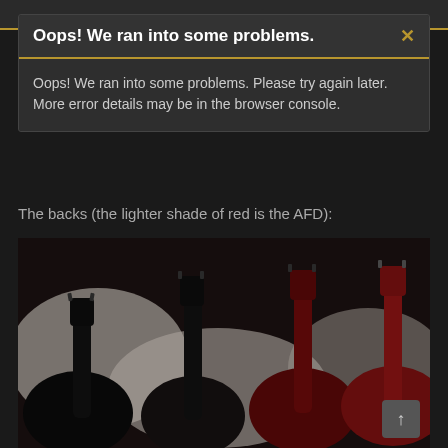Oops! We ran into some problems.
Oops! We ran into some problems. Please try again later. More error details may be in the browser console.
The backs (the lighter shade of red is the AFD):
[Figure (photo): Several electric guitars (Les Paul style) photographed from the back, lying on white bedding. Two dark/black guitars on the left, and two dark red guitars on the right. The lighter shade of red guitar is the AFD model.]